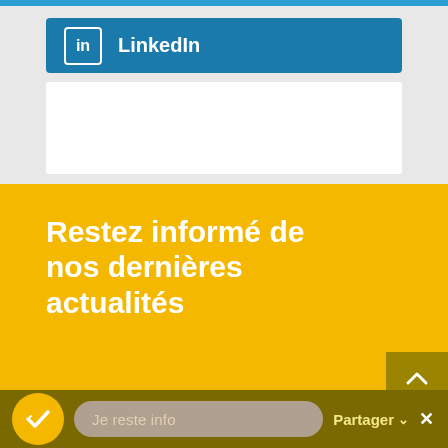[Figure (screenshot): LinkedIn social share button bar with blue background and 'in' icon]
Restez informé de nos dernières actualités
Email
Je reste info
Partager